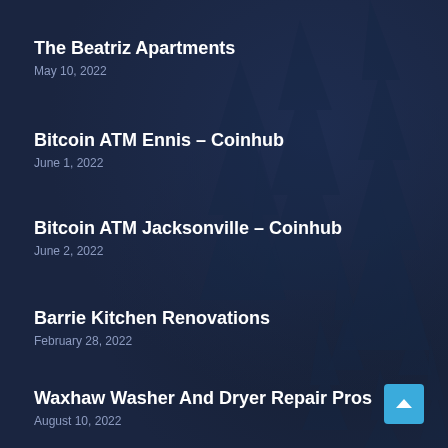The Beatriz Apartments
May 10, 2022
Bitcoin ATM Ennis – Coinhub
June 1, 2022
Bitcoin ATM Jacksonville – Coinhub
June 2, 2022
Barrie Kitchen Renovations
February 28, 2022
Waxhaw Washer And Dryer Repair Pros
August 10, 2022